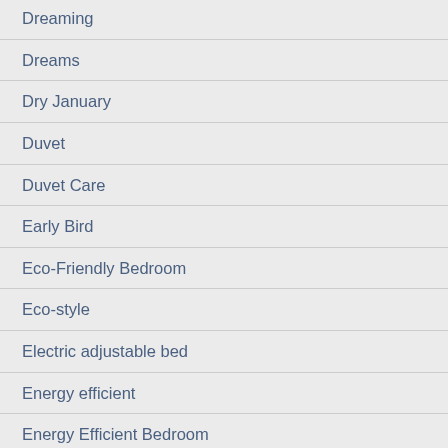Dreaming
Dreams
Dry January
Duvet
Duvet Care
Early Bird
Eco-Friendly Bedroom
Eco-style
Electric adjustable bed
Energy efficient
Energy Efficient Bedroom